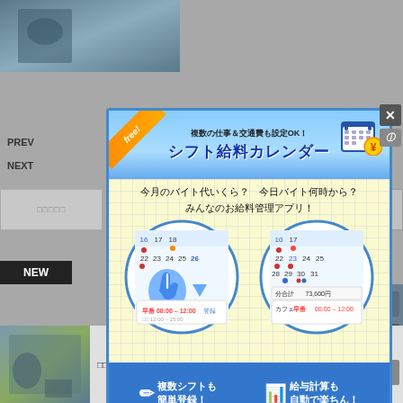[Figure (screenshot): Japanese website screenshot with gray background, navigation elements PREV/NEXT, and a mobile app advertisement popup for a shift salary calendar app (シフト給料カレンダー). The ad shows calendar screenshots, features for multiple shift registration and automatic salary calculation.]
PREV
NEXT
NEW
[Figure (infographic): Mobile app advertisement for シフト給料カレンダー (Shift Salary Calendar). Header reads 複数の仕事＆交通費も設定OK！ with title シフト給料カレンダー. Body shows tagline 今月のバイト代いくら？ 今日バイト何時から？ みんなのお給料管理アプリ！. Two circular screenshots of calendar app. Bottom features: 複数シフトも簡単登録！ and 給与計算も自動で楽ちん！]
□□□□□□□□□□□□□□□□□□□□□□□□□□□□□□□□□□□□□□□